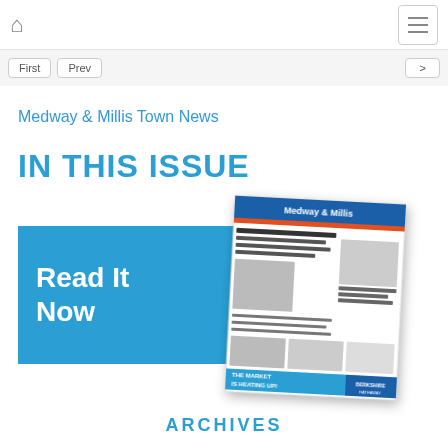Home | Menu
First | Prev | (next button)
Medway & Millis Town News
IN THIS ISSUE
[Figure (other): Blue Read It Now banner with overlapping Medway & Millis Town News newspaper front page thumbnail, rotated slightly]
Read It Now
ARCHIVES